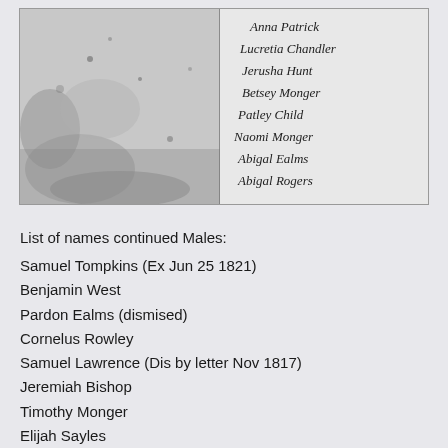[Figure (photo): Scanned historical document page showing handwritten names in cursive script on the right half: Anna Patrick, Lucretia Chandler, Jerusha Hunt, Betsey Monger, Patley Child, Naomi Monger, Abigal Ealms, Abigal Rogers. Left half is heavily degraded/stained.]
List of names continued Males:
Samuel Tompkins (Ex Jun 25 1821)
Benjamin West
Pardon Ealms (dismised)
Cornelus Rowley
Samuel Lawrence (Dis by letter Nov 1817)
Jeremiah Bishop
Timothy Monger
Elijah Sayles